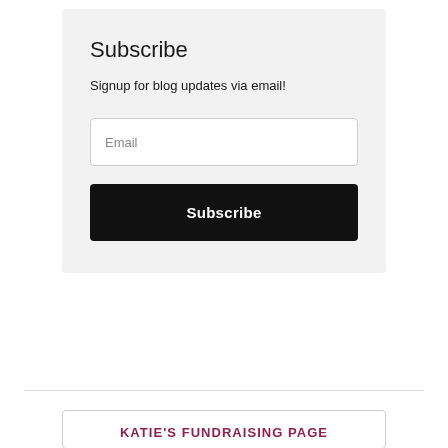Subscribe
Signup for blog updates via email!
Email
Subscribe
KATIE'S FUNDRAISING PAGE